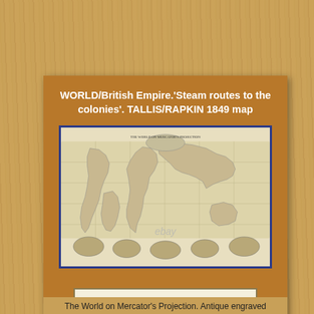WORLD/British Empire.'Steam routes to the colonies'. TALLIS/RAPKIN 1849 map
[Figure (map): Antique world map on Mercator's Projection showing steam routes to British colonies, Tallis/Rapkin 1849, with decorative vignettes around the borders and 'ebay' watermark overlay]
More info on eBay...
The World on Mercator's Projection. Antique engraved